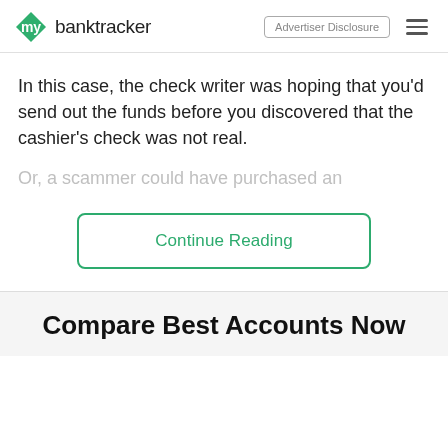mybanktracker | Advertiser Disclosure
In this case, the check writer was hoping that you'd send out the funds before you discovered that the cashier's check was not real.
Or, a scammer could have purchased an
Continue Reading
Compare Best Accounts Now